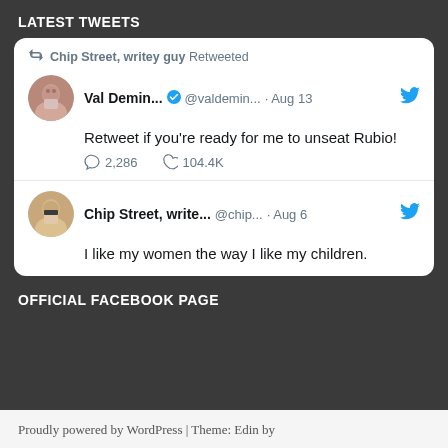LATEST TWEETS
[Figure (screenshot): Twitter widget showing two tweets. First tweet: retweeted by 'Chip Street, writey guy'. Original tweet by 'Val Demin... @valdemin... Aug 13' with verified badge: 'Retweet if you're ready for me to unseat Rubio!' with 2,286 replies and 104.4K likes. Second tweet by 'Chip Street, write... @chip... Aug 6': 'I like my women the way I like my children.']
OFFICIAL FACEBOOK PAGE
Proudly powered by WordPress | Theme: Edin by